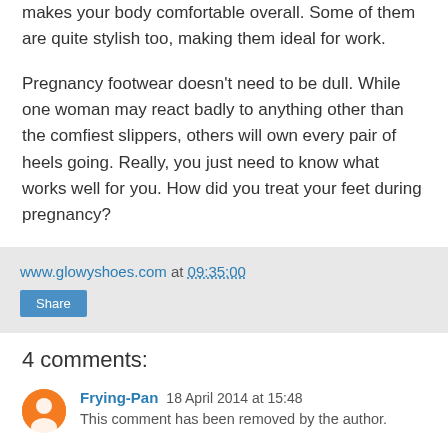makes your body comfortable overall. Some of them are quite stylish too, making them ideal for work.
Pregnancy footwear doesn’t need to be dull. While one woman may react badly to anything other than the comfiest slippers, others will own every pair of heels going. Really, you just need to know what works well for you. How did you treat your feet during pregnancy?
www.glowyshoes.com at 09:35:00
Share
4 comments:
Frying-Pan 18 April 2014 at 15:48
This comment has been removed by the author.